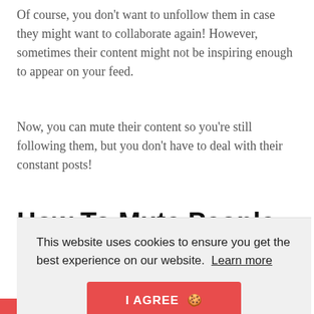Of course, you don't want to unfollow them in case they might want to collaborate again! However, sometimes their content might not be inspiring enough to appear on your feed.
Now, you can mute their content so you're still following them, but you don't have to deal with their constant posts!
How To Mute People On Instagram
[Figure (screenshot): Cookie consent banner overlay with text 'This website uses cookies to ensure you get the best experience on our website. Learn more' and a red 'I AGREE' button with a cookie emoji.]